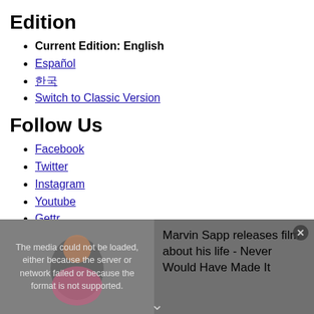Edition
Current Edition: English
Español
한국
Switch to Classic Version
Follow Us
Facebook
Twitter
Instagram
Youtube
Gettr
Apple News
Google News
Telegram
[Figure (screenshot): Video player overlay showing media error message: 'The media could not be loaded, either because the server or network failed or because the format is not supported.' Alongside text: 'Marvin Sapp releases film about his life - Never Would Have Made It']